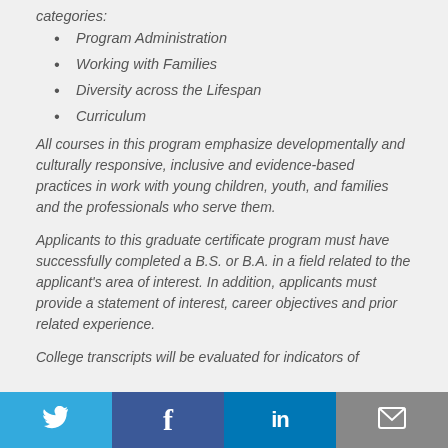categories:
Program Administration
Working with Families
Diversity across the Lifespan
Curriculum
All courses in this program emphasize developmentally and culturally responsive, inclusive and evidence-based practices in work with young children, youth, and families and the professionals who serve them.
Applicants to this graduate certificate program must have successfully completed a B.S. or B.A. in a field related to the applicant's area of interest. In addition, applicants must provide a statement of interest, career objectives and prior related experience.
College transcripts will be evaluated for indicators of
[Figure (other): Social media share bar with Twitter, Facebook, LinkedIn, and email icons]